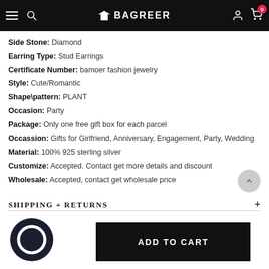BAGREER
Side Stone: Diamond
Earring Type: Stud Earrings
Certificate Number: bamoer fashion jewelry
Style: Cute/Romantic
Shape\pattern: PLANT
Occasion: Party
Package: Only one free gift box for each parcel
Occassion: Gifts for Girlfriend, Anniversary, Engagement, Party, Wedding
Material: 100% 925 sterling silver
Customize: Accepted. Contact get more details and discount
Wholesale: Accepted, contact get wholesale price
SHIPPING + RETURNS
[Figure (logo): Chat/support icon circle logo]
ADD TO CART